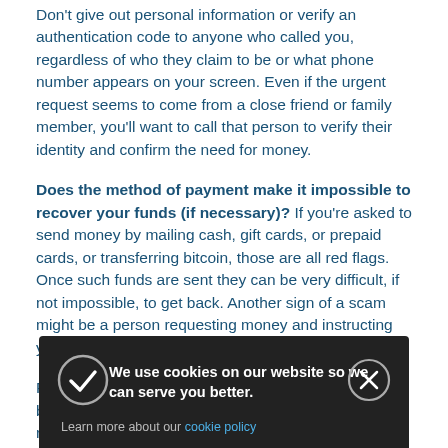Don't give out personal information or verify an authentication code to anyone who called you, regardless of who they claim to be or what phone number appears on your screen. Even if the urgent request seems to come from a close friend or family member, you'll want to call that person to verify their identity and confirm the need for money.
Does the method of payment make it impossible to recover your funds (if necessary)? If you're asked to send money by mailing cash, gift cards, or prepaid cards, or transferring bitcoin, those are all red flags. Once such funds are sent they can be very difficult, if not impossible, to get back. Another sign of a scam might be a person requesting money and instructing you to pay a third party.
For example, a fraudster may claim to be from the IRS but ask you to mail cash to an individual at a residential address, claiming the person is an attorney for the IRS. A d s a h
We use cookies on our website so we can serve you better. Learn more about our cookie policy.